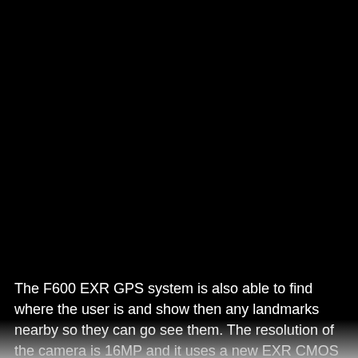[Figure (photo): Large dark/black area occupying the upper portion of the page, likely a photograph taken in low light or near-darkness.]
The F600 EXR GPS system is also able to find where the user is and show then any landmarks nearby so they can go see them. The resolution of the camera is 16MP and it uses a new EXR CMOS sensor. The EXRs Auto scene also...